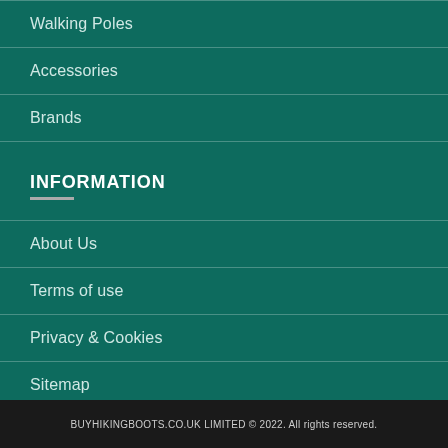Walking Poles
Accessories
Brands
INFORMATION
About Us
Terms of use
Privacy & Cookies
Sitemap
Contact
News
BUYHIKINGBOOTS.CO.UK LIMITED © 2022. All rights reserved.